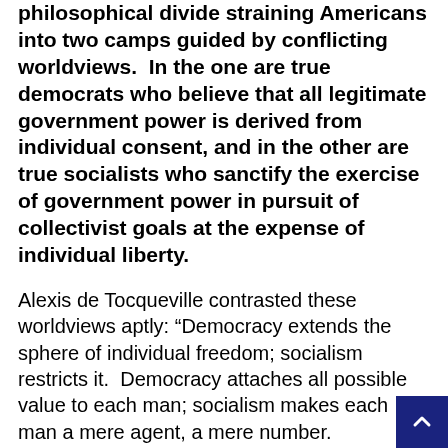mask mandates are also an illustration of the sharp philosophical divide straining Americans into two camps guided by conflicting worldviews.  In the one are true democrats who believe that all legitimate government power is derived from individual consent, and in the other are true socialists who sanctify the exercise of government power in pursuit of collectivist goals at the expense of individual liberty.
Alexis de Tocqueville contrasted these worldviews aptly: “Democracy extends the sphere of individual freedom; socialism restricts it.  Democracy attaches all possible value to each man; socialism makes each man a mere agent, a mere number.  Democracy and socialism have nothing in common but one word: equality.  But notice the difference: while democracy seeks equality in liberty, socialism seeks equality in restraint and servitude